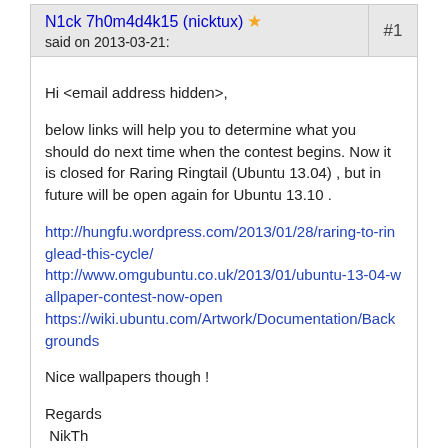N1ck 7h0m4d4k15 (nicktux) ★  said on 2013-03-21:  #1
Hi <email address hidden>,

below links will help you to determine what you should do next time when the contest begins. Now it is closed for Raring Ringtail (Ubuntu 13.04) , but in future will be open again for Ubuntu 13.10 .

http://hungfu.wordpress.com/2013/01/28/raring-to-ringlead-this-cycle/
http://www.omgubuntu.co.uk/2013/01/ubuntu-13-04-wallpaper-contest-now-open
https://wiki.ubuntu.com/Artwork/Documentation/Backgrounds

Nice wallpapers though !

Regards
 NikTh
stephan.clemens@qut.edu.au (stephan-clemens) said on 2013-03-21:  #2